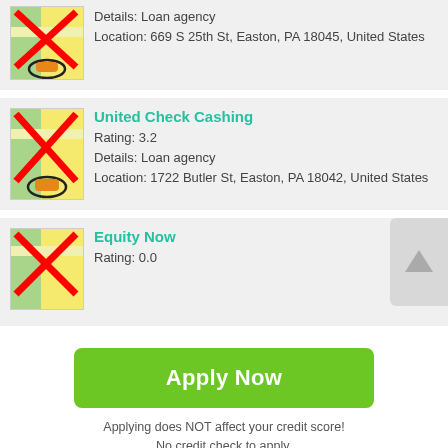[Figure (other): Map icon with red X overlay and orange pencil marker, partially visible card]
Details: Loan agency
Location: 669 S 25th St, Easton, PA 18045, United States
[Figure (other): Map icon with red X overlay and orange pencil marker]
United Check Cashing
Rating: 3.2
Details: Loan agency
Location: 1722 Butler St, Easton, PA 18042, United States
[Figure (other): Map icon with red X overlay, partially visible]
Equity Now
Rating: 0.0
Apply Now
Applying does NOT affect your credit score!
No credit check to apply.